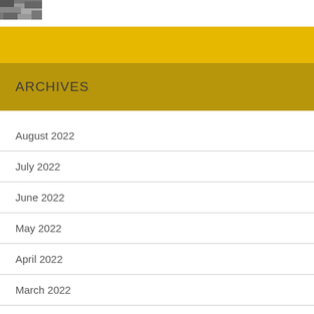[Figure (photo): Small grayscale thumbnail image in top-left corner]
ARCHIVES
August 2022
July 2022
June 2022
May 2022
April 2022
March 2022
February 2022